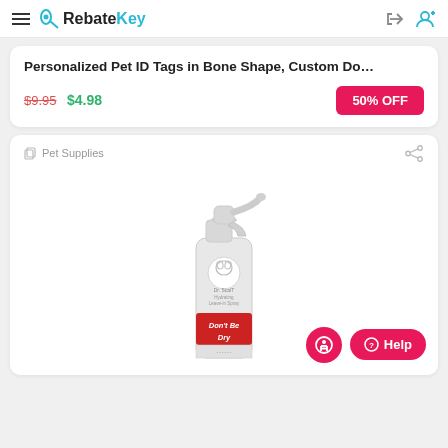RebateKey
Personalized Pet ID Tags in Bone Shape, Custom Do…
$9.95  $4.98  50% OFF
Pet Supplies
[Figure (photo): White spray bottle product labeled 'Dr. ScalT Hydrating Leave-in Spray' with a red label reading 'Don't Be Dry']